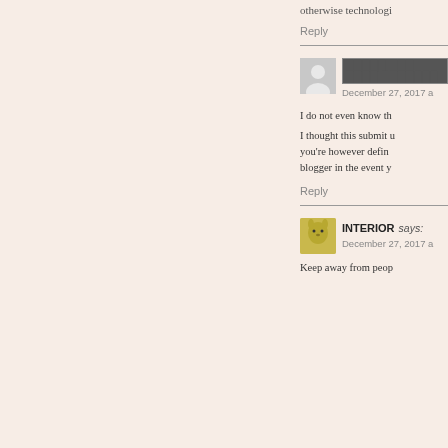otherwise technologi
Reply
████ ███ ████ ██████
December 27, 2017 a
I do not even know th
I thought this submit u you're however defin blogger in the event y
Reply
INTERIOR says:
December 27, 2017 a
Keep away from peop